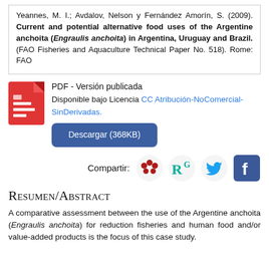Yeannes, M. I.; Avdalov, Nelson y Fernández Amorín, S. (2009). Current and potential alternative food uses of the Argentine anchoita (Engraulis anchoita) in Argentina, Uruguay and Brazil. (FAO Fisheries and Aquaculture Technical Paper No. 518). Rome: FAO
[Figure (other): Red PDF document icon with horizontal lines symbol]
PDF - Versión publicada
Disponible bajo Licencia CC Atribución-NoComercial-SinDerivadas.
Descargar (368KB)
[Figure (other): Share icons row: Mendeley logo (red dots), ResearchGate logo (RG in green), Twitter bird (blue), Facebook F (blue square)]
Resumen/Abstract
A comparative assessment between the use of the Argentine anchoita (Engraulis anchoita) for reduction fisheries and human food and/or value-added products is the focus of this case study.